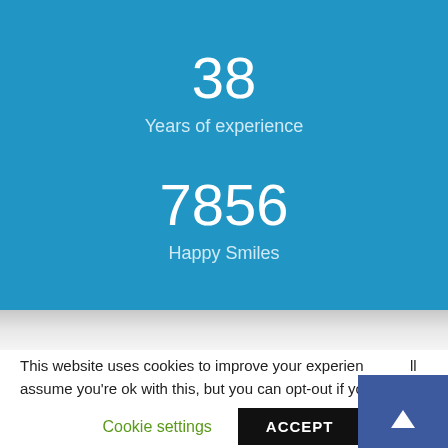38
Years of experience
7856
Happy Smiles
This website uses cookies to improve your experience. We'll assume you're ok with this, but you can opt-out if you wish.
Cookie settings
ACCEPT